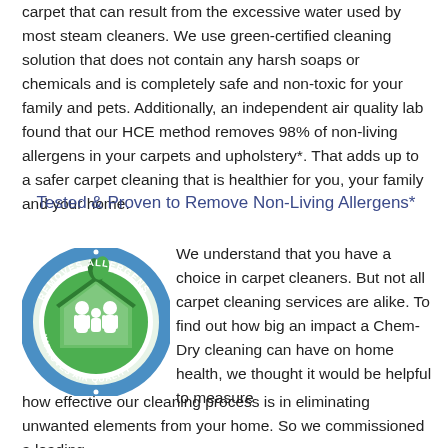carpet that can result from the excessive water used by most steam cleaners. We use green-certified cleaning solution that does not contain any harsh soaps or chemicals and is completely safe and non-toxic for your family and pets. Additionally, an independent air quality lab found that our HCE method removes 98% of non-living allergens in your carpets and upholstery*. That adds up to a safer carpet cleaning that is healthier for you, your family and your home.
Tested & Proven to Remove Non-Living Allergens*
[Figure (logo): Circular badge logo with blue border text reading 'REMOVES ALLERGENS' on top and 'IMPROVES AIR QUALITY' on bottom, with a green house icon containing a family silhouette and leaf design in the center.]
We understand that you have a choice in carpet cleaners. But not all carpet cleaning services are alike. To find out how big an impact a Chem-Dry cleaning can have on home health, we thought it would be helpful to measure how effective our cleaning process is in eliminating unwanted elements from your home. So we commissioned a leading